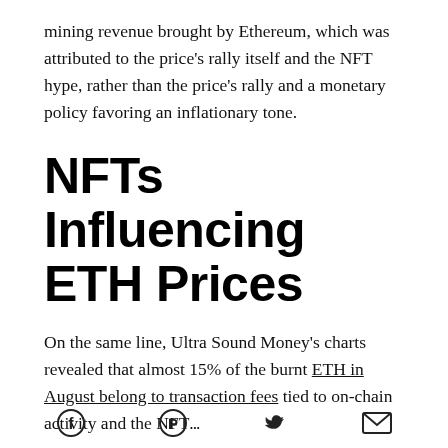mining revenue brought by Ethereum, which was attributed to the price's rally itself and the NFT hype, rather than the price's rally and a monetary policy favoring an inflationary tone.
NFTs Influencing ETH Prices
On the same line, Ultra Sound Money's charts revealed that almost 15% of the burnt ETH in August belong to transaction fees tied to on-chain activity and the NFT...
Facebook Pinterest Twitter Email